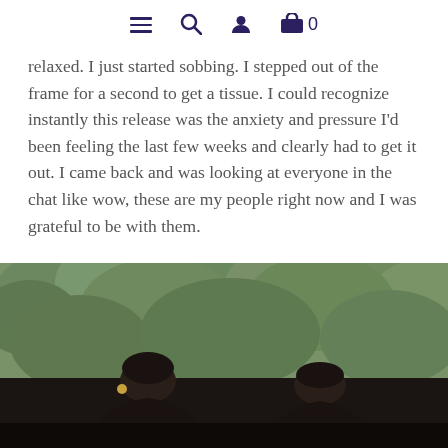Navigation bar with hamburger menu, search, user, and cart icons
relaxed. I just started sobbing. I stepped out of the frame for a second to get a tissue. I could recognize instantly this release was the anxiety and pressure I'd been feeling the last few weeks and clearly had to get it out. I came back and was looking at everyone in the chat like wow, these are my people right now and I was grateful to be with them.
[Figure (photo): Two Black women with short natural hairstyles, wearing dark clothing, standing in front of lush green foliage/trees outdoors]